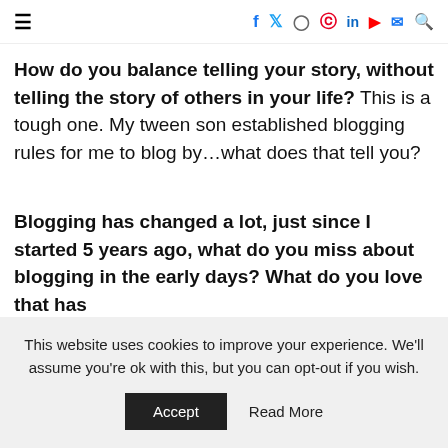≡ f t Instagram Pinterest in YouTube mail search
How do you balance telling your story, without telling the story of others in your life? This is a tough one. My tween son established blogging rules for me to blog by…what does that tell you?
Blogging has changed a lot, just since I started 5 years ago, what do you miss about blogging in the early days? What do you love that has
This website uses cookies to improve your experience. We'll assume you're ok with this, but you can opt-out if you wish. Accept Read More